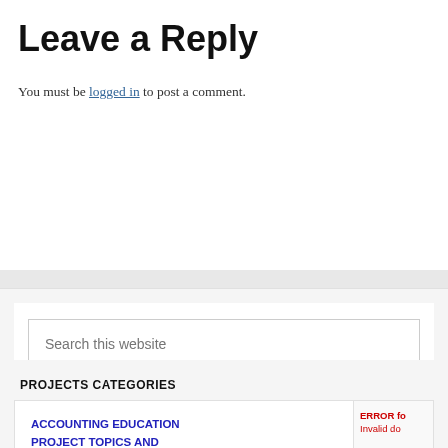Leave a Reply
You must be logged in to post a comment.
[Figure (screenshot): Search input box with placeholder text 'Search this website']
PROJECTS CATEGORIES
ACCOUNTING EDUCATION PROJECT TOPICS AND MATERIALS (388)
ERROR for site owner: Invalid do